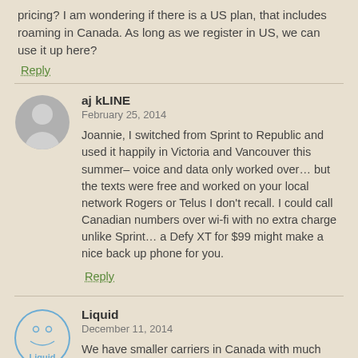pricing? I am wondering if there is a US plan, that includes roaming in Canada. As long as we register in US, we can use it up here?
Reply
aj kLINE
February 25, 2014
Joannie, I switched from Sprint to Republic and used it happily in Victoria and Vancouver this summer– voice and data only worked over… but the texts were free and worked on your local network Rogers or Telus I don't recall. I could call Canadian numbers over wi-fi with no extra charge unlike Sprint… a Defy XT for $99 might make a nice back up phone for you.
Reply
Liquid
December 11, 2014
We have smaller carriers in Canada with much lower prices than the big 3. I'm currently with WIND Mobile and pay $35/month plus tax for